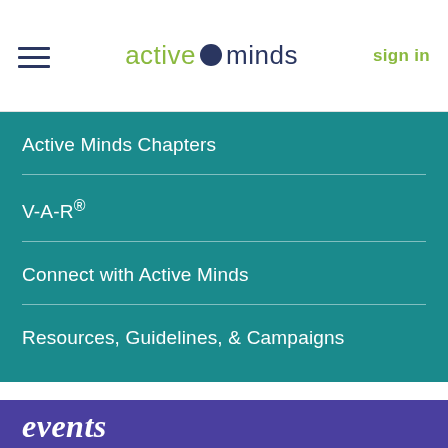active minds  sign in
Active Minds Chapters
V-A-R®
Connect with Active Minds
Resources, Guidelines, & Campaigns
events